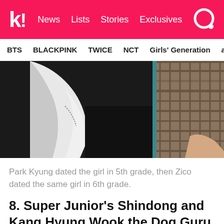k! News Lists Stories Exclusives
BTS BLACKPINK TWICE NCT Girls' Generation aespa
[Figure (photo): Close-up photo of a person's torso wearing a white puffy/billowy shirt on the left and a plaid/woven hat visible on the right, against a dark background]
Park Kyung dated the girl in 5th grade, then Zico dated the same girl in 6th grade.
8. Super Junior's Shindong and Kang Hyung Wook the Dog Guru are the